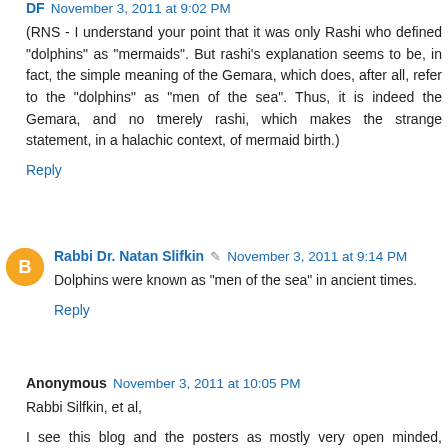DF November 3, 2011 at 9:02 PM
(RNS - I understand your point that it was only Rashi who defined "dolphins" as "mermaids". But rashi's explanation seems to be, in fact, the simple meaning of the Gemara, which does, after all, refer to the "dolphins" as "men of the sea". Thus, it is indeed the Gemara, and no tmerely rashi, which makes the strange statement, in a halachic context, of mermaid birth.)
Reply
Rabbi Dr. Natan Slifkin November 3, 2011 at 9:14 PM
Dolphins were known as "men of the sea" in ancient times.
Reply
Anonymous November 3, 2011 at 10:05 PM
Rabbi Silfkin, et al,
I see this blog and the posters as mostly very open minded, thinking people. I also really like most of the posts, they